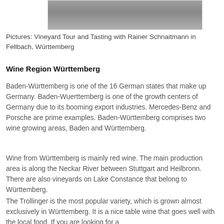[Figure (photo): Partial photo showing people during a vineyard tour and tasting event, cropped at top of page]
Pictures: Vineyard Tour and Tasting with Rainer Schnaitmann in Fellbach, Württemberg
Wine Region Württemberg
Baden-Württemberg is one of the 16 German states that make up Germany. Baden-Wuerttemberg is one of the growth centers of Germany due to its booming export industries. Mercedes-Benz and Porsche are prime examples. Baden-Württemberg comprises two wine growing areas, Baden and Württemberg.
Wine from Württemberg is mainly red wine. The main production area is along the Neckar River between Stuttgart and Heilbronn. There are also vineyards on Lake Constance that belong to Württemberg.
The Trollinger is the most popular variety, which is grown almost exclusively in Württemberg. It is a nice table wine that goes well with the local food. If you are looking for a